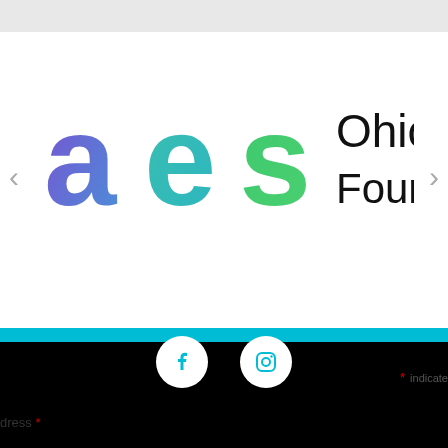[Figure (logo): AES Ohio Foundation logo with colorful 'aes' letters (purple 'a', teal 'e', green 's') and black text 'Ohio Foundation']
[Figure (infographic): Black footer bar with cyan stripe at top, containing Facebook and Instagram social media icon circles in white]
SUBSCRIBE
* indicates required
Email Address *